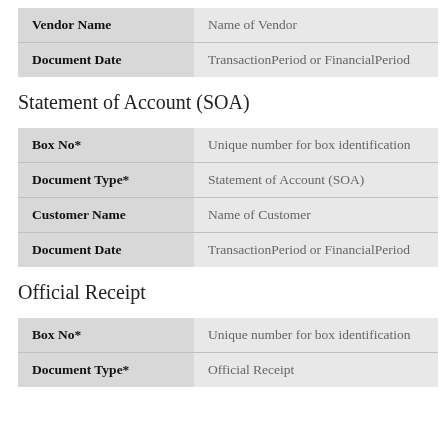| Field | Value |
| --- | --- |
| Vendor Name | Name of Vendor |
| Document Date | TransactionPeriod or FinancialPeriod |
Statement of Account (SOA)
| Field | Value |
| --- | --- |
| Box No* | Unique number for box identification |
| Document Type* | Statement of Account (SOA) |
| Customer Name | Name of Customer |
| Document Date | TransactionPeriod or FinancialPeriod |
Official Receipt
| Field | Value |
| --- | --- |
| Box No* | Unique number for box identification |
| Document Type* | Official Receipt |